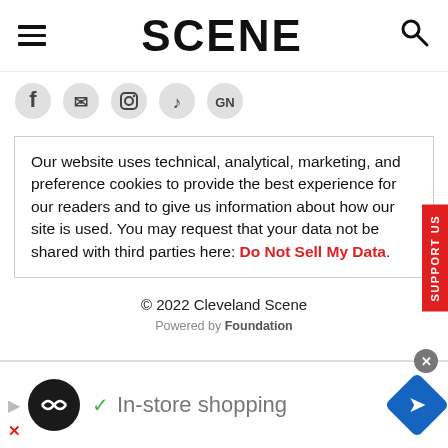SCENE
[Figure (screenshot): Social media icon buttons row: Facebook, Twitter/email, Instagram, TikTok, Google News]
Our website uses technical, analytical, marketing, and preference cookies to provide the best experience for our readers and to give us information about how our site is used. You may request that your data not be shared with third parties here: Do Not Sell My Data.
© 2022 Cleveland Scene
Powered by Foundation
[Figure (screenshot): Advertisement banner at bottom: play button, circular logo, checkmark, In-store shopping text, blue arrow/direction icon, close X button]